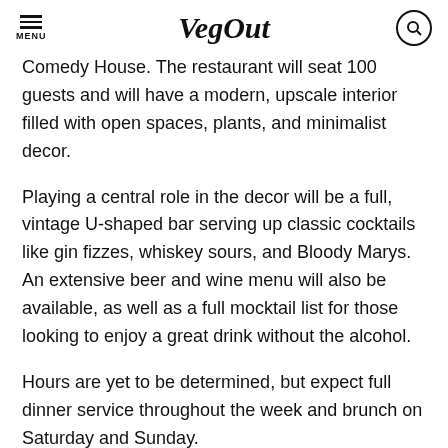VegOut
Comedy House. The restaurant will seat 100 guests and will have a modern, upscale interior filled with open spaces, plants, and minimalist decor.
Playing a central role in the decor will be a full, vintage U-shaped bar serving up classic cocktails like gin fizzes, whiskey sours, and Bloody Marys. An extensive beer and wine menu will also be available, as well as a full mocktail list for those looking to enjoy a great drink without the alcohol.
Hours are yet to be determined, but expect full dinner service throughout the week and brunch on Saturday and Sunday.
From the Minds Behind Golden Dinosaurs, Black Radish, and Nah Dogs